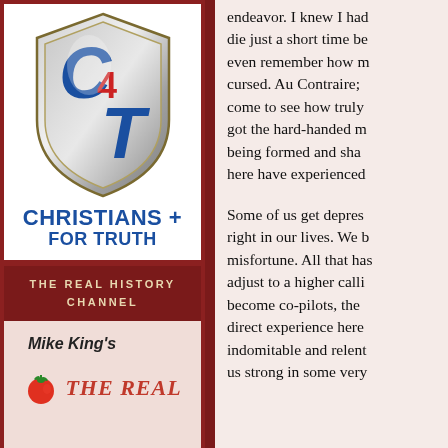[Figure (logo): Christians for Truth C4T shield logo with blue C, red 4, blue T on metallic shield background]
CHRISTIANS FOR TRUTH
THE REAL HISTORY CHANNEL
Mike King's
[Figure (logo): The Real History Channel logo with tomato icon and italic red text THE REAL]
endeavor. I knew I had die just a short time be even remember how m cursed. Au Contraire; come to see how truly got the hard-handed m being formed and sha here have experienced
Some of us get depres right in our lives. We b misfortune. All that has adjust to a higher calli become co-pilots, the direct experience here indomitable and relent us strong in some very